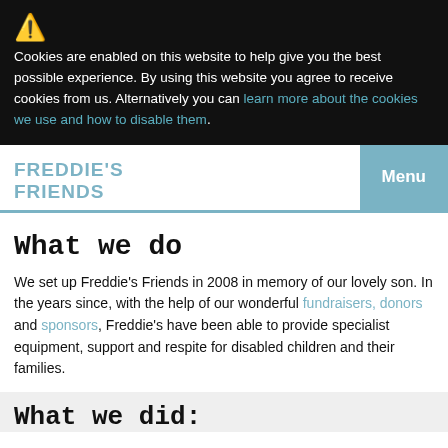Cookies are enabled on this website to help give you the best possible experience. By using this website you agree to receive cookies from us. Alternatively you can learn more about the cookies we use and how to disable them.
FREDDIE'S FRIENDS
What we do
We set up Freddie's Friends in 2008 in memory of our lovely son. In the years since, with the help of our wonderful fundraisers, donors and sponsors, Freddie's have been able to provide specialist equipment, support and respite for disabled children and their families.
What we did: